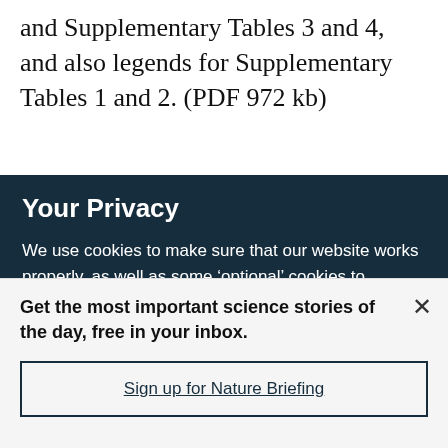and Supplementary Tables 3 and 4, and also legends for Supplementary Tables 1 and 2. (PDF 972 kb)
Your Privacy
We use cookies to make sure that our website works properly, as well as some ‘optional’ cookies to personalise content and advertising, provide social media features and analyse how people use our site. By accepting some or all optional cookies you give consent to the processing of your personal data, including transfer to third parties, some in countries outside of the European Economic Area that do not offer the same data protection standards as the country where you live. You can decide which optional cookies to accept by clicking on ‘Manage Settings’, where you can
Get the most important science stories of the day, free in your inbox.
Sign up for Nature Briefing